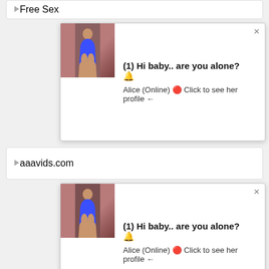Free Sex
[Figure (screenshot): Popup notification: (1) Hi baby.. are you alone? Alice (Online) – Click to see her profile, with close X button and thumbnail image]
aaavids.com
[Figure (screenshot): Popup notification: (1) Hi baby.. are you alone? Alice (Online) – Click to see her profile, with close X button and thumbnail image]
nudes
XNXX Videos
XNXX TV
hotpornlove.com
gethdxxx.com